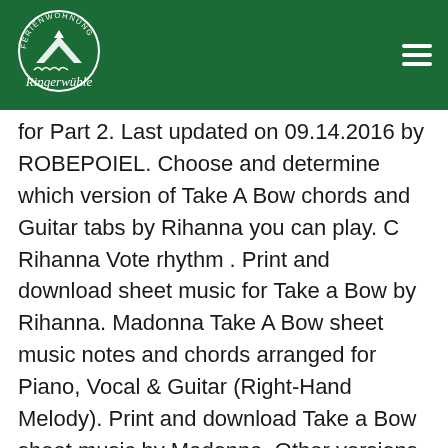Ferienwohnung Ringerwühle logo and navigation
for Part 2. Last updated on 09.14.2016 by ROBEPOIEL. Choose and determine which version of Take A Bow chords and Guitar tabs by Rihanna you can play. C Rihanna Vote rhythm . Print and download sheet music for Take a Bow by Rihanna. Madonna Take A Bow sheet music notes and chords arranged for Piano, Vocal & Guitar (Right-Hand Melody). Print and download Take a Bow sheet music by Madonna. Other versions (1) Create new version . Take A Bow Key D#mD#m Take A Bow Key EmEm Take A Bow Key FmFm Take A Bow Key F#mF#m (one step down) Take A Bow Key GmGm (half step down) Take A Bow … chords ukulele cavaco keyboard tab bass drums harmonica flute Guitar Pro. Album: Good Girl Gone Bad: Reloaded [CD/DVD]. Sheet music arranged